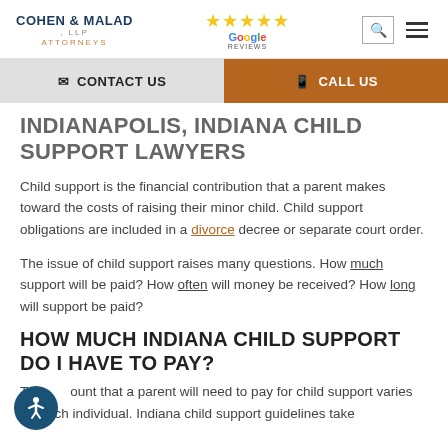COHEN & MALAD, LLP ATTORNEYS — Google Reviews (5 stars)
INDIANAPOLIS, INDIANA CHILD SUPPORT LAWYERS
Child support is the financial contribution that a parent makes toward the costs of raising their minor child. Child support obligations are included in a divorce decree or separate court order.
The issue of child support raises many questions. How much support will be paid? How often will money be received? How long will support be paid?
HOW MUCH INDIANA CHILD SUPPORT DO I HAVE TO PAY?
The amount that a parent will need to pay for child support varies for each individual. Indiana child support guidelines take